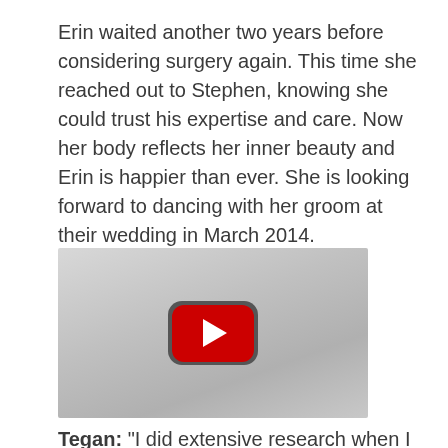Erin waited another two years before considering surgery again. This time she reached out to Stephen, knowing she could trust his expertise and care. Now her body reflects her inner beauty and Erin is happier than ever. She is looking forward to dancing with her groom at their wedding in March 2014.
[Figure (other): YouTube video thumbnail placeholder showing a red YouTube play button on a grey background]
Tegan: "I did extensive research when I was looking for a place to have my procedure, in fact I